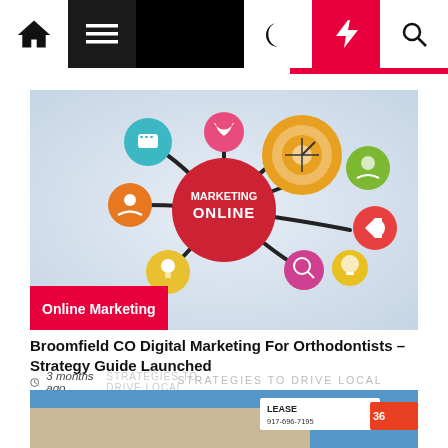Navigation bar with home, menu, moon, lightning, and search icons
[Figure (illustration): Online Marketing concept illustration: interconnected circles with icons (heart, target, people, megaphone, lightbulb, magnifier) linked by black curved lines, central red circle labeled MARKETING ONLINE]
Online Marketing
Broomfield CO Digital Marketing For Orthodontists – Strategy Guide Launched
3 months ago
[Figure (photo): Partial photo of a building with a billboard/sign showing LEASE and phone number 917-696-7195]